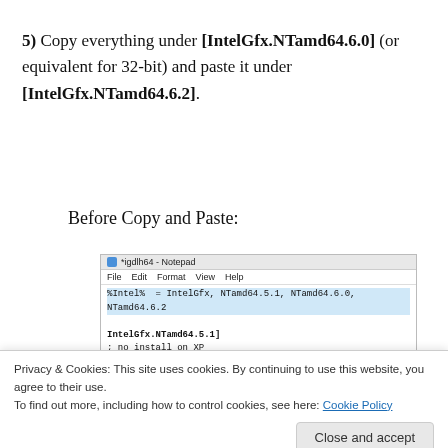5) Copy everything under [IntelGfx.NTamd64.6.0] (or equivalent for 32-bit) and paste it under [IntelGfx.NTamd64.6.2].
Before Copy and Paste:
[Figure (screenshot): Notepad screenshot showing INF file content with %Intel% line listing NTamd64.5.1, NTamd64.6.0, NTamd64.6.2, and IntelGfx.NTamd64.5.1] section with 'no install on XP']
Privacy & Cookies: This site uses cookies. By continuing to use this website, you agree to their use.
To find out more, including how to control cookies, see here: Cookie Policy
Close and accept